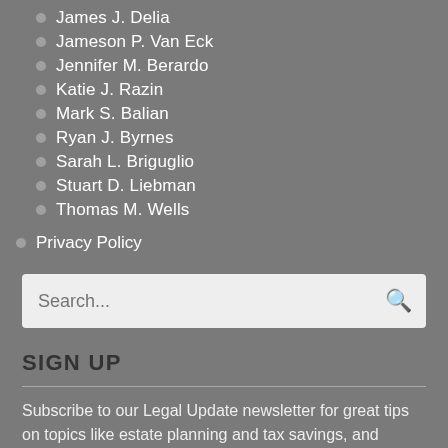James J. Delia
Jameson P. Van Eck
Jennifer M. Berardo
Katie J. Razin
Mark S. Balian
Ryan J. Byrnes
Sarah L. Briguglio
Stuart D. Liebman
Thomas M. Wells
Privacy Policy
SIGN UP
Subscribe to our Legal Update newsletter for great tips on topics like estate planning and tax savings, and thought-provoking legal articles!